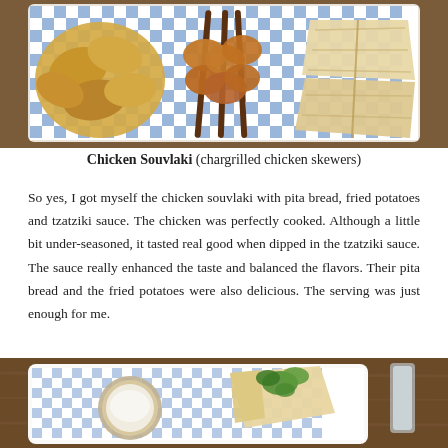[Figure (photo): Top-down photo of a tray with blue and white checkered liner holding chicken souvlaki skewers, fried potato chips on the left, and triangles of pita bread on the right]
Chicken Souvlaki (chargrilled chicken skewers)
So yes, I got myself the chicken souvlaki with pita bread, fried potatoes and tzatziki sauce. The chicken was perfectly cooked. Although a little bit under-seasoned, it tasted real good when dipped in the tzatziki sauce. The sauce really enhanced the taste and balanced the flavors. Their pita bread and the fried potatoes were also delicious. The serving was just enough for me.
[Figure (photo): Close-up photo of a white rectangular plate with blue and white checkered liner, containing a small metal ramekin of white tzatziki sauce and pita bread with fresh parsley garnish, on a wooden table]